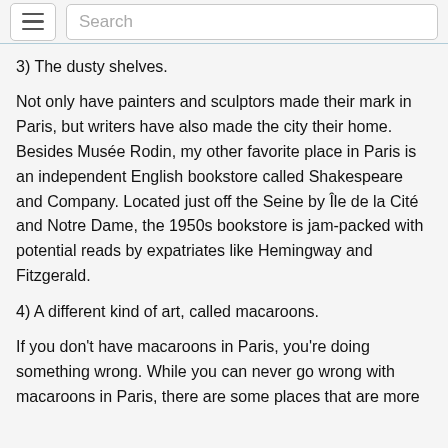☰  Search
3) The dusty shelves.
Not only have painters and sculptors made their mark in Paris, but writers have also made the city their home. Besides Musée Rodin, my other favorite place in Paris is an independent English bookstore called Shakespeare and Company. Located just off the Seine by Île de la Cité and Notre Dame, the 1950s bookstore is jam-packed with potential reads by expatriates like Hemingway and Fitzgerald.
4) A different kind of art, called macaroons.
If you don't have macaroons in Paris, you're doing something wrong. While you can never go wrong with macaroons in Paris, there are some places that are more